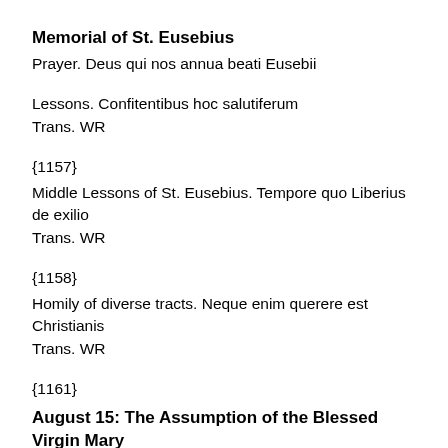Memorial of St. Eusebius
Prayer. Deus qui nos annua beati Eusebii
Lessons. Confitentibus hoc salutiferum
Trans. WR
{1157}
Middle Lessons of St. Eusebius. Tempore quo Liberius de exilio
Trans. WR
{1158}
Homily of diverse tracts. Neque enim querere est Christianis
Trans. WR
{1161}
August 15: The Assumption of the Blessed Virgin Mary
Principal Double Feast